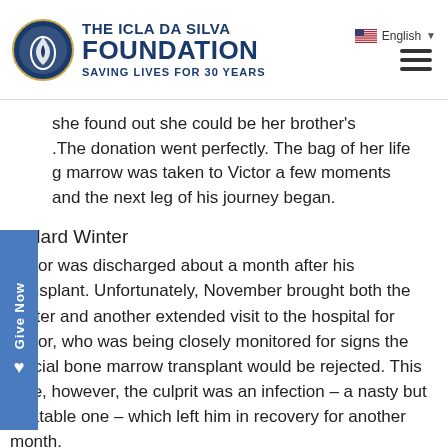THE ICLA DA SILVA FOUNDATION — SAVING LIVES FOR 30 YEARS
she found out she could be her brother's .The donation went perfectly. The bag of her life g marrow was taken to Victor a few moments and the next leg of his journey began.
A Hard Winter
Victor was discharged about a month after his transplant. Unfortunately, November brought both the winter and another extended visit to the hospital for Victor, who was being closely monitored for signs the crucial bone marrow transplant would be rejected. This time, however, the culprit was an infection – a nasty but treatable one – which left him in recovery for another month.
The medication caused weakness, exhaustion, pooling